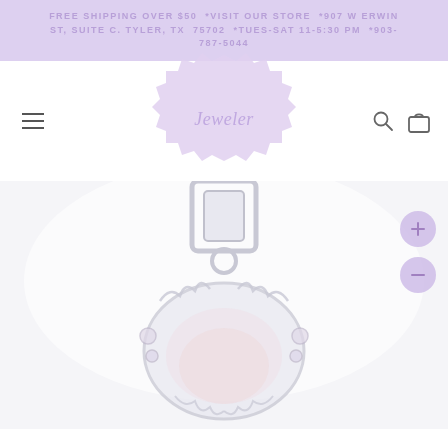FREE SHIPPING OVER $50 *VISIT OUR STORE *907 W ERWIN ST, SUITE C. TYLER, TX 75702 *TUES-SAT 11-5:30 PM *903-787-5044
[Figure (logo): Jeweler store logo — a lilac/lavender wax seal stamp shape with the word 'Jeweler' written in script inside]
[Figure (photo): Close-up product photograph of a silver ornate heart-shaped pendant with decorative filigree border and a bail/clasp at the top, showing a colorful stone or enamel inset, on a light background]